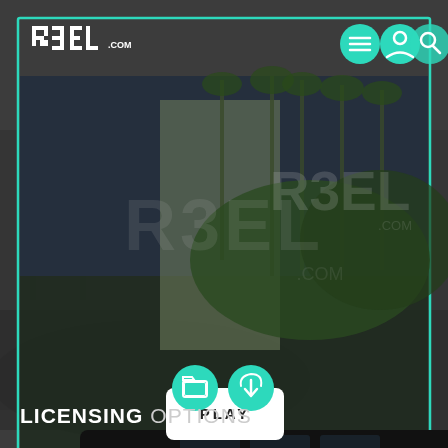[Figure (screenshot): R3EL.com website screenshot showing a video player interface with a street scene of a black limousine and palm trees in Los Angeles. The UI shows the R3EL logo in the top left, three teal circular navigation icons (menu, profile, search) in the top right, a PLAY button in the center of the video, two teal bottom icon buttons (folder and cloud download), and a teal border frame around the player. Below the player is 'LICENSING OPTIONS' text in white.]
LICENSING OPTIONS